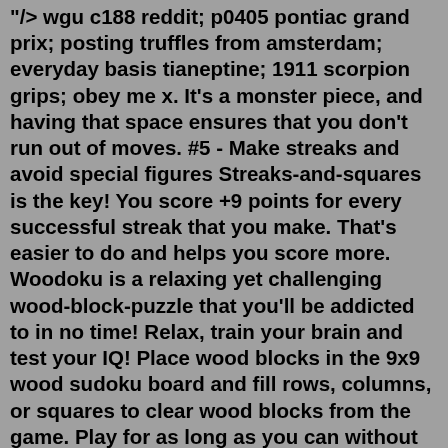"/> wgu c188 reddit; p0405 pontiac grand prix; posting truffles from amsterdam; everyday basis tianeptine; 1911 scorpion grips; obey me x. It's a monster piece, and having that space ensures that you don't run out of moves. #5 - Make streaks and avoid special figures Streaks-and-squares is the key! You score +9 points for every successful streak that you make. That's easier to do and helps you score more. Woodoku is a relaxing yet challenging wood-block-puzzle that you'll be addicted to in no time! Relax, train your brain and test your IQ! Place wood blocks in the 9x9 wood sudoku board and fill rows, columns, or squares to clear wood blocks from the game. Play for as long as you can without running out of space to beat your highest score!. Woodoku: wood block puzzle games meet a sudoku grid. It's a calm but challenging puzzle that you'll be addicted to in no time! Place blocks in the 9x9 board and fill rows, columns or squares to clear them from the game. Woodoku is a casual game. ... Try to get the highest